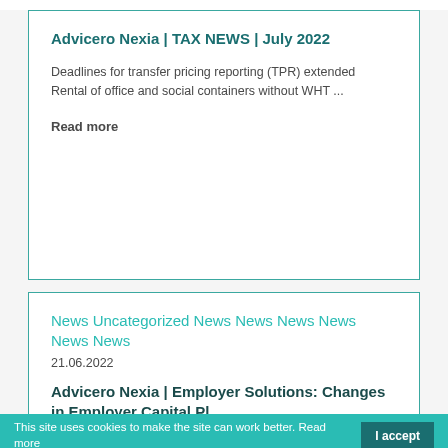Advicero Nexia | TAX NEWS | July 2022
Deadlines for transfer pricing reporting (TPR) extended
Rental of office and social containers without WHT ...
Read more
News Uncategorized News News News News News News
21.06.2022
Advicero Nexia | Employer Solutions: Changes in Employer Capital Pl...
This site uses cookies to make the site can work better. Read more